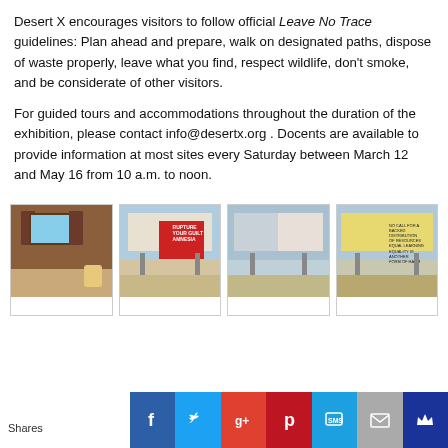Desert X encourages visitors to follow official Leave No Trace guidelines: Plan ahead and prepare, walk on designated paths, dispose of waste properly, leave what you find, respect wildlife, don't smoke, and be considerate of other visitors.
For guided tours and accommodations throughout the duration of the exhibition, please contact info@desertx.org . Docents are available to provide information at most sites every Saturday between March 12 and May 16 from 10 a.m. to noon.
[Figure (photo): Interior of a travel trailer or RV showing a window with curtains and a bed with a person lying on it]
[Figure (photo): Desert billboard with red panel reading RUPTURE YOUR GUILT AMNESIA, with a motorcycle figure, set against a desert landscape]
[Figure (photo): Desert billboard with two-panel design, muted colors, set against a hazy sky and desert ground]
[Figure (photo): Desert billboard with yellow background and text sign, set against sky and desert ground]
Shares  [Facebook] [Twitter] [Google+] [Pinterest] [SMS] [Mail] [Crown]